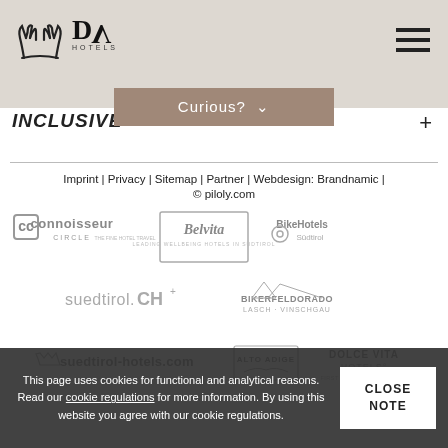DV Hotels - logo and navigation header
INCLUSIVE
Curious?
Imprint | Privacy | Sitemap | Partner | Webdesign: Brandnamic |
© piloly.com
[Figure (logo): Connoisseur Circle logo - grey]
[Figure (logo): Belvita logo - grey box]
[Figure (logo): BikeHotels Südtirol logo - grey]
[Figure (logo): suedtirol.CH+ logo - grey text]
[Figure (logo): Bikerfeldorado Lasch-Vinschgau logo - grey]
[Figure (logo): suedtirol-hotels.com logo - grey]
[Figure (logo): Alto Adige logo - grey]
[Figure (logo): Dolce Vita Hotels logo - grey]
This page uses cookies for functional and analytical reasons. Read our cookie regulations for more information. By using this website you agree with our cookie regulations.
CLOSE NOTE